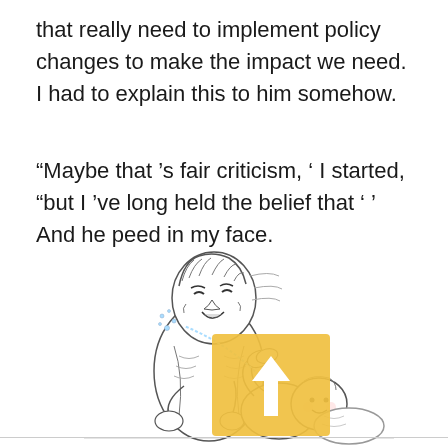that really need to implement policy changes to make the impact we need. I had to explain this to him somehow.
“Maybe that ’s fair criticism, ‘ I started, “but I ’ve long held the belief that ‘ ’ And he peed in my face.
[Figure (illustration): A black and white cartoon illustration of an adult (appearing distressed, mouth open, face being sprayed) leaning over a baby lying on what appears to be a changing surface with a pillow. An overlaid yellow/amber square with a white upward arrow is partially covering the illustration.]